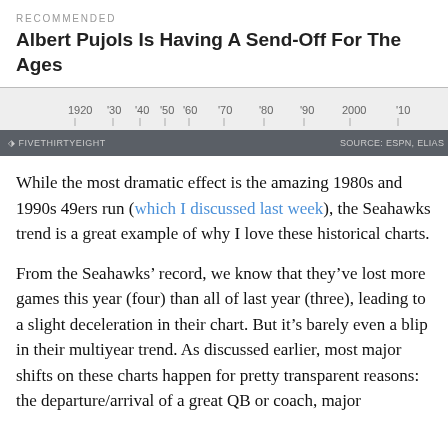RECOMMENDED
Albert Pujols Is Having A Send-Off For The Ages
[Figure (continuous-plot): Bottom portion of a historical chart with x-axis labels from 1920 to '10 (2010), showing decade tick marks. Footer bar shows FiveThirtyEight logo and source: ESPN, ELIAS.]
While the most dramatic effect is the amazing 1980s and 1990s 49ers run (which I discussed last week), the Seahawks trend is a great example of why I love these historical charts.
From the Seahawks’ record, we know that they’ve lost more games this year (four) than all of last year (three), leading to a slight deceleration in their chart. But it’s barely even a blip in their multiyear trend. As discussed earlier, most major shifts on these charts happen for pretty transparent reasons: the departure/arrival of a great QB or coach, major